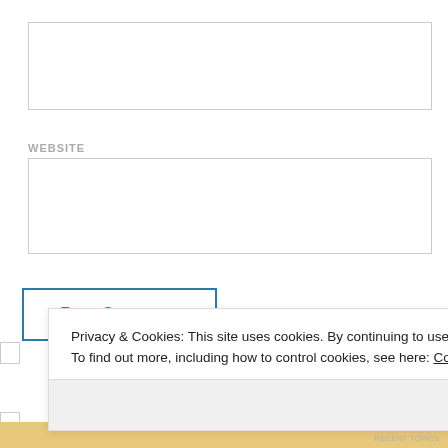[Figure (screenshot): Empty text input box (form field)]
WEBSITE
[Figure (screenshot): Empty website input box (form field)]
[Figure (screenshot): Post Comment button with blue border]
Privacy & Cookies: This site uses cookies. By continuing to use this website, you agree to their use.
To find out more, including how to control cookies, see here: Cookie Policy
Close and accept